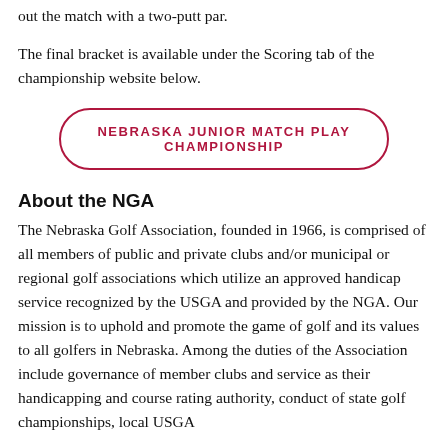out the match with a two-putt par.
The final bracket is available under the Scoring tab of the championship website below.
NEBRASKA JUNIOR MATCH PLAY CHAMPIONSHIP
About the NGA
The Nebraska Golf Association, founded in 1966, is comprised of all members of public and private clubs and/or municipal or regional golf associations which utilize an approved handicap service recognized by the USGA and provided by the NGA. Our mission is to uphold and promote the game of golf and its values to all golfers in Nebraska. Among the duties of the Association include governance of member clubs and service as their handicapping and course rating authority, conduct of state golf championships, local USGA